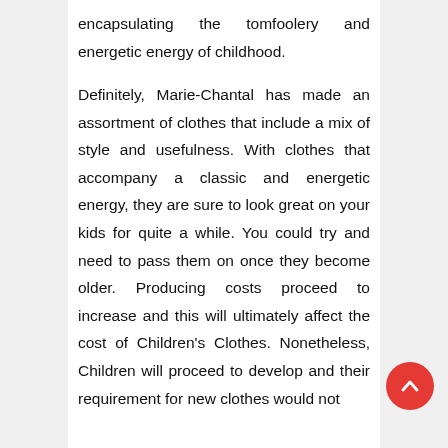encapsulating the tomfoolery and energetic energy of childhood.
Definitely, Marie-Chantal has made an assortment of clothes that include a mix of style and usefulness. With clothes that accompany a classic and energetic energy, they are sure to look great on your kids for quite a while. You could try and need to pass them on once they become older. Producing costs proceed to increase and this will ultimately affect the cost of Children's Clothes. Nonetheless, Children will proceed to develop and their requirement for new clothes would not